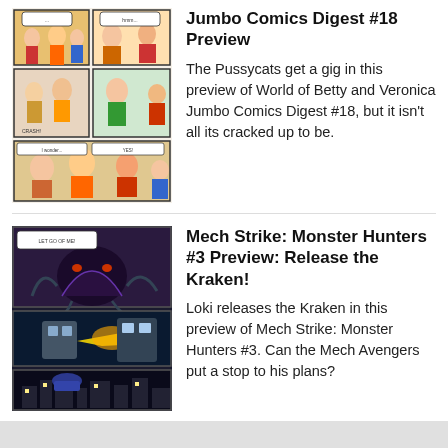[Figure (illustration): Comic book page thumbnail showing Pussycats characters in colorful illustrated panels]
Jumbo Comics Digest #18 Preview
The Pussycats get a gig in this preview of World of Betty and Veronica Jumbo Comics Digest #18, but it isn't all its cracked up to be.
[Figure (illustration): Dark action comic book panels showing Mech Strike Monster Hunters with robotic figures and dramatic scenes]
Mech Strike: Monster Hunters #3 Preview: Release the Kraken!
Loki releases the Kraken in this preview of Mech Strike: Monster Hunters #3. Can the Mech Avengers put a stop to his plans?